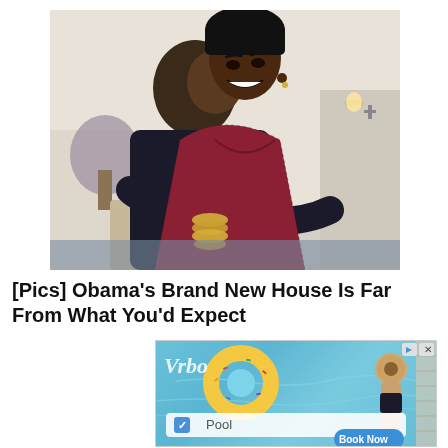[Figure (photo): Barack Obama hugging Michelle Obama from behind. Michelle is wearing a red/maroon lace top with gold bangles and smiling broadly. Barack is in a dark suit with a striped tie. They appear to be in a formal room with white decor and flowers in the background.]
[Pics] Obama's Brand New House Is Far From What You'd Expect
[Figure (screenshot): Advertisement for Vrbo (vacation rental website) showing an aerial view of a swimming pool with a colorful donut float and a person lying by the pool. There is a search interface with a checkbox labeled 'Pool' and a 'Book Now' button. The Vrbo logo appears in the top left.]